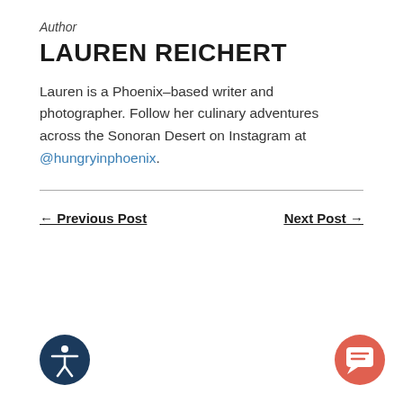Author
LAUREN REICHERT
Lauren is a Phoenix–based writer and photographer. Follow her culinary adventures across the Sonoran Desert on Instagram at @hungryinphoenix.
← Previous Post
Next Post →
[Figure (illustration): Circular dark navy accessibility icon with a person figure inside]
[Figure (illustration): Circular coral/red chat bubble icon]